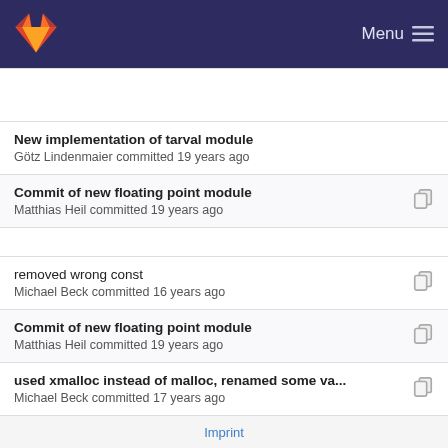Menu
New implementation of tarval module
Götz Lindenmaier committed 19 years ago
Commit of new floating point module
Matthias Heil committed 19 years ago
removed wrong const
Michael Beck committed 16 years ago
Commit of new floating point module
Matthias Heil committed 19 years ago
used xmalloc instead of malloc, renamed some va...
Michael Beck committed 17 years ago
Commit of new floating point module
Matthias Heil committed 19 years ago
Imprint